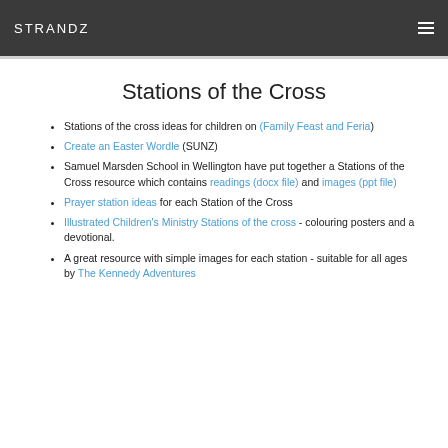STRANDZ
Stations of the Cross
Stations of the cross ideas for children on (Family Feast and Feria)
Create an Easter Wordle (SUNZ)
Samuel Marsden School in Wellington have put together a Stations of the Cross resource which contains readings (docx file) and images (ppt file)
Prayer station ideas for each Station of the Cross
Illustrated Children's Ministry Stations of the cross - colouring posters and a devotional.
A great resource with simple images for each station - suitable for all ages by The Kennedy Adventures